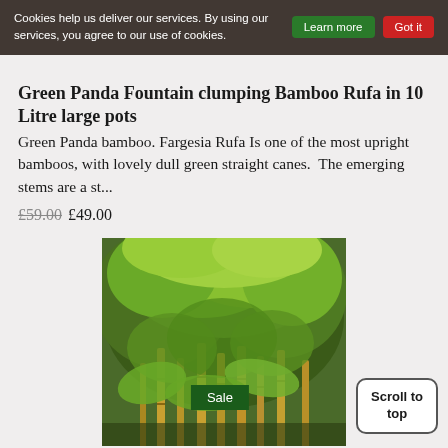Cookies help us deliver our services. By using our services, you agree to our use of cookies.
Green Panda Fountain clumping Bamboo Rufa in 10 Litre large pots
Green Panda bamboo. Fargesia Rufa Is one of the most upright bamboos, with lovely dull green straight canes.  The emerging stems are a st...
£59.00 £49.00
[Figure (photo): Dense green bamboo plant with tall yellow-green canes and lush drooping foliage, with a Sale badge overlay]
Scroll to top